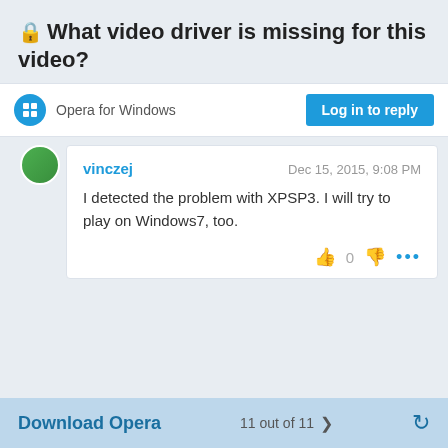🔒What video driver is missing for this video?
Opera for Windows
Log in to reply
vinczej
Dec 15, 2015, 9:08 PM
I detected the problem with XPSP3. I will try to play on Windows7, too.
Download Opera   11 out of 11   ❮   ↻